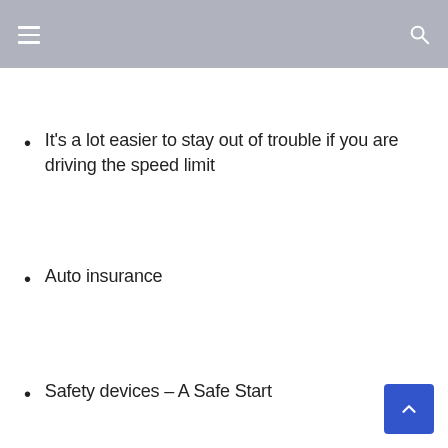It’s a lot easier to stay out of trouble if you are driving the speed limit
Auto insurance
Safety devices – A Safe Start